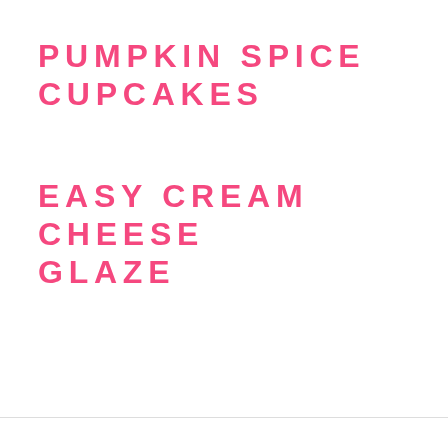PUMPKIN SPICE CUPCAKES
EASY CREAM CHEESE GLAZE